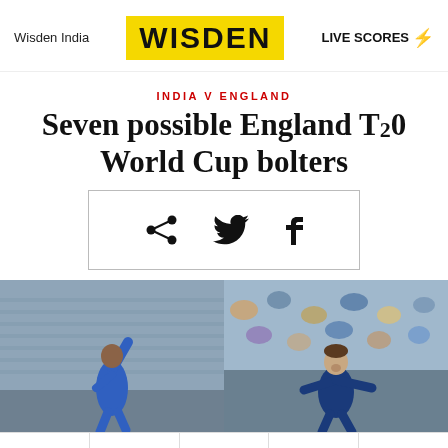Wisden India | WISDEN | LIVE SCORES
INDIA V ENGLAND
Seven possible England T20 World Cup bolters
[Figure (infographic): Social share icons: share, Twitter, Facebook inside a bordered box]
[Figure (photo): Two cricket players side by side: left shows a bowler in blue kit with arm raised, right shows a celebrating cricketer in front of a crowd]
MATCHES | STORIES | YOUR GAME | SHOP | MENU